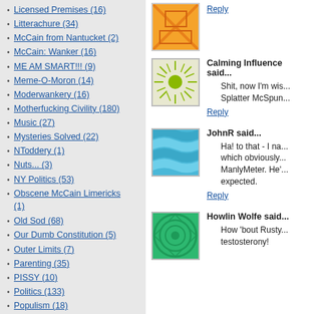Licensed Premises (16)
Litterachure (34)
McCain from Nantucket (2)
McCain: Wanker (16)
ME AM SMART!!! (9)
Meme-O-Moron (14)
Moderwankery (16)
Motherfucking Civility (180)
Music (27)
Mysteries Solved (22)
NToddery (1)
Nuts... (3)
NY Politics (53)
Obscene McCain Limericks (1)
Old Sod (68)
Our Dumb Constitution (5)
Outer Limits (7)
Parenting (35)
PISSY (10)
Politics (133)
Populism (18)
Post-Abushacolypse (14)
Pride (1)
Pundittery (95)
Putzriotism (13)
Race & Related Issues (86)
Calming Influence said...
Shit, now I'm wis... Splatter McSpun...
Reply
JohnR said...
Ha! to that - I na... which obviously... ManlyMeter. He'... expected.
Reply
Howlin Wolfe said...
How 'bout Rusty... testosterony!